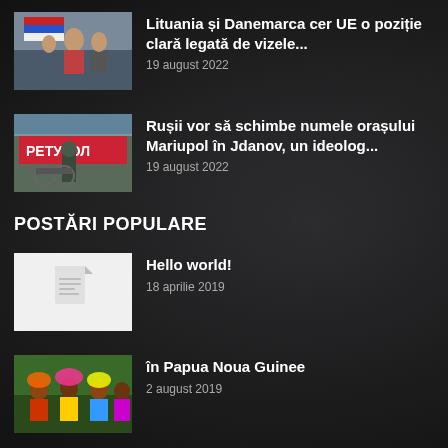[Figure (photo): People with Russian flag outdoors, protest scene]
Lituania și Danemarca cer UE o poziție clară legată de vizele...
19 august 2022
[Figure (photo): Soldier in front of a building with Russian-language sign, Mariupol]
Rușii vor să schimbe numele orașului Mariupol în Jdanov, un ideolog...
19 august 2022
POSTĂRI POPULARE
[Figure (photo): Document placeholder icon, white background]
Hello world!
18 aprilie 2019
[Figure (photo): Tribal people in colorful traditional costumes, Papua New Guinea]
în Papua Noua Guinee
2 august 2019
[Figure (photo): Partially visible image at bottom]
Meagle Corp: Company you might be working